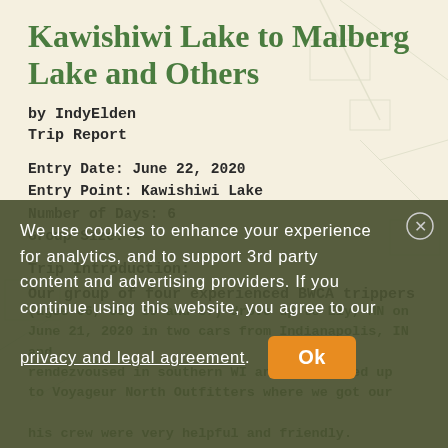Kawishiwi Lake to Malberg Lake and Others
by IndyElden
Trip Report
Entry Date: June 22, 2020
Entry Point: Kawishiwi Lake
Number of Days: 6
Group Size: 4
Trip Introduction:
Our group of four experienced BWCA trippers
We use cookies to enhance your experience for analytics, and to support 3rd party content and advertising providers. If you continue using this website, you agree to our privacy and legal agreement. Ok